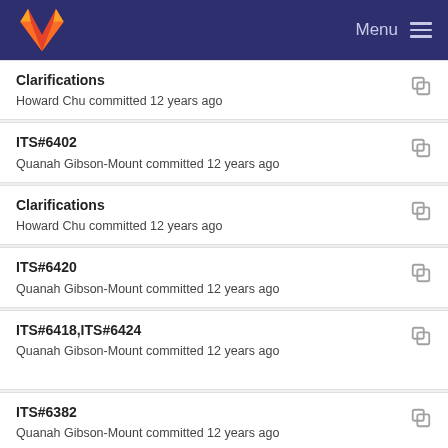Menu
Clarifications
Howard Chu committed 12 years ago
ITS#6402
Quanah Gibson-Mount committed 12 years ago
Clarifications
Howard Chu committed 12 years ago
ITS#6420
Quanah Gibson-Mount committed 12 years ago
ITS#6418,ITS#6424
Quanah Gibson-Mount committed 12 years ago
ITS#6382
Quanah Gibson-Mount committed 12 years ago
ITS#6290
Quanah Gibson-Mount committed 12 years ago